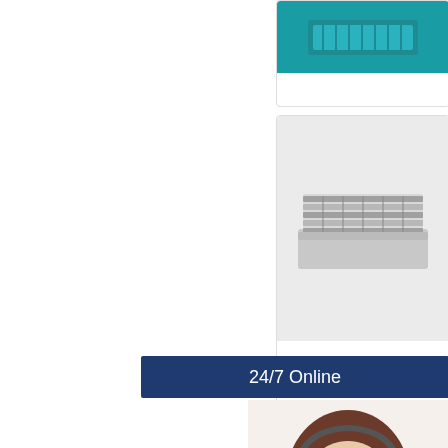[Figure (photo): Cropped product card at top with teal/dark teal background showing what appears to be a filter or panel product]
[Figure (photo): Product card showing a metallic louvered/slotted panel or filter in gray background]
Mar
Mark panel and anal
24/7 Online
[Figure (photo): Blue rectangle with laptop icon - customer service card area]
[Figure (photo): Customer service representative woman wearing headset smiling]
Have any requests, click here.
Quotation
[Figure (photo): Bottom product card showing a gray panel or filter product]